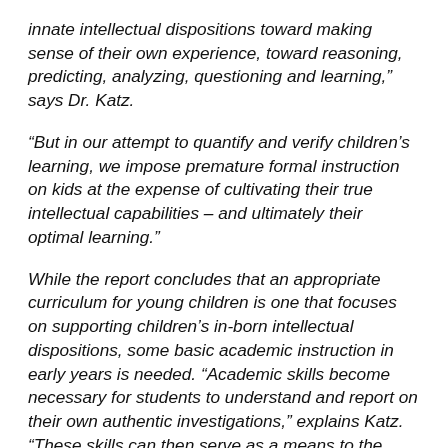innate intellectual dispositions toward making sense of their own experience, toward reasoning, predicting, analyzing, questioning and learning,” says Dr. Katz.
“But in our attempt to quantify and verify children’s learning, we impose premature formal instruction on kids at the expense of cultivating their true intellectual capabilities – and ultimately their optimal learning.”
While the report concludes that an appropriate curriculum for young children is one that focuses on supporting children’s in-born intellectual dispositions, some basic academic instruction in early years is needed. “Academic skills become necessary for students to understand and report on their own authentic investigations,” explains Katz. “These skills can then serve as a means to the greater end of fostering and advancing children’s